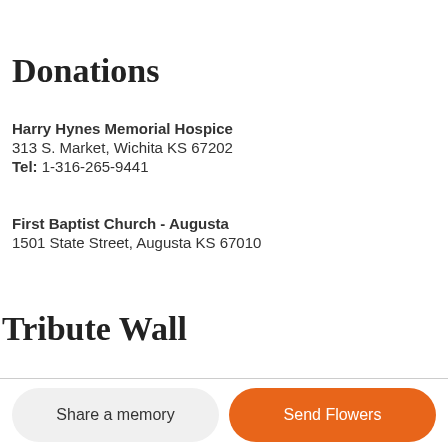Donations
Harry Hynes Memorial Hospice
313 S. Market, Wichita KS 67202
Tel: 1-316-265-9441
First Baptist Church - Augusta
1501 State Street, Augusta KS 67010
Tribute Wall
Share a memory
Send Flowers
Plant a Tree